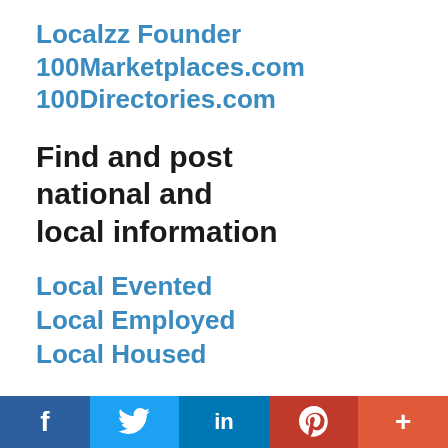Localzz Founder
100Marketplaces.com
100Directories.com
Find and post national and local information
Local Evented
Local Employed
Local Housed
Get listed today! Free, Basic, and Featured listings on these destinations:
[Figure (infographic): Social media share bar with Facebook, Twitter, LinkedIn, Pinterest, and More (+) buttons]